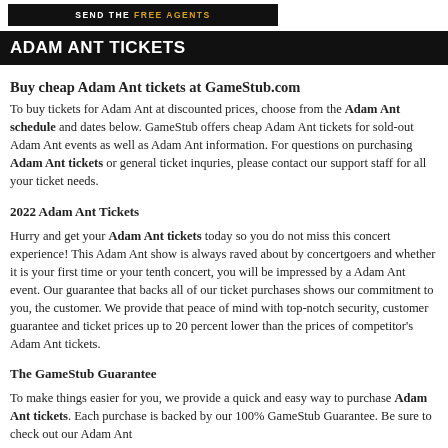[Figure (illustration): Dark banner image with stylized text, partially visible at top of page]
ADAM ANT TICKETS
Buy cheap Adam Ant tickets at GameStub.com
To buy tickets for Adam Ant at discounted prices, choose from the Adam Ant schedule and dates below. GameStub offers cheap Adam Ant tickets for sold-out Adam Ant events as well as Adam Ant information. For questions on purchasing Adam Ant tickets or general ticket inquries, please contact our support staff for all your ticket needs.
2022 Adam Ant Tickets
Hurry and get your Adam Ant tickets today so you do not miss this concert experience! This Adam Ant show is always raved about by concertgoers and whether it is your first time or your tenth concert, you will be impressed by a Adam Ant event. Our guarantee that backs all of our ticket purchases shows our commitment to you, the customer. We provide that peace of mind with top-notch security, customer guarantee and ticket prices up to 20 percent lower than the prices of competitor's Adam Ant tickets.
The GameStub Guarantee
To make things easier for you, we provide a quick and easy way to purchase Adam Ant tickets. Each purchase is backed by our 100% GameStub Guarantee. Be sure to check out our Adam Ant